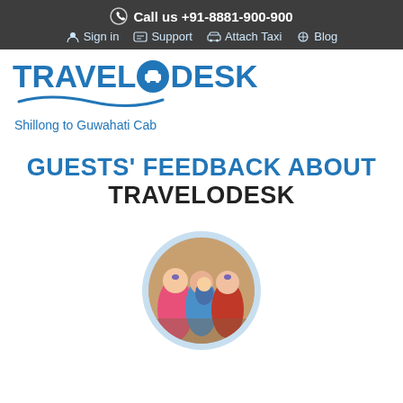Call us +91-8881-900-900 | Sign in | Support | Attach Taxi | Blog
[Figure (logo): TravelODesk logo with car icon inside letter O and blue wave underline]
Shillong to Guwahati Cab
GUESTS' FEEDBACK ABOUT TRAVELODESK
[Figure (photo): Circular profile photo of a group of people including women and a child, outdoors]